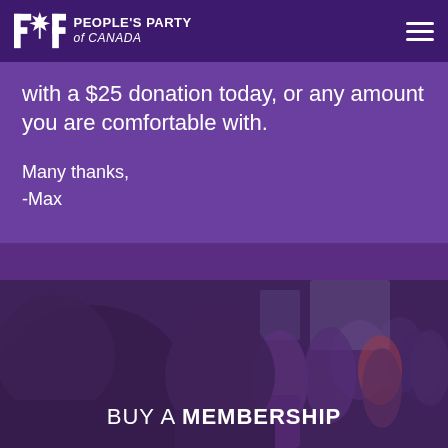PPC People's Party of Canada
with a $25 donation today, or any amount you are comfortable with.
Many thanks,
-Max
[Figure (photo): Audience of diverse people seated and looking forward, in a conference or meeting setting, with purple overlay tint]
BUY A MEMBERSHIP